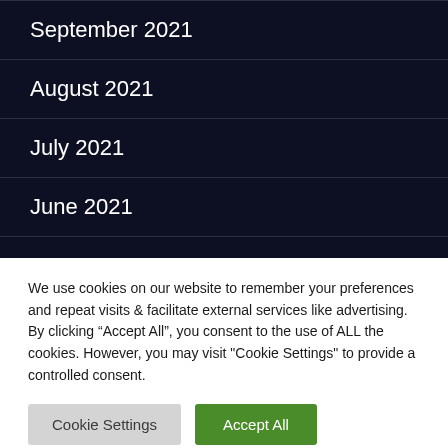September 2021
August 2021
July 2021
June 2021
We use cookies on our website to remember your preferences and repeat visits & facilitate external services like advertising. By clicking “Accept All”, you consent to the use of ALL the cookies. However, you may visit "Cookie Settings" to provide a controlled consent.
Cookie Settings | Accept All